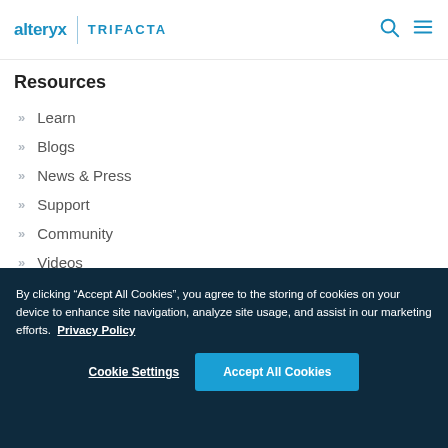alteryx | TRIFACTA
Resources
Learn
Blogs
News & Press
Support
Community
Videos
By clicking “Accept All Cookies”, you agree to the storing of cookies on your device to enhance site navigation, analyze site usage, and assist in our marketing efforts. Privacy Policy
Cookie Settings   Accept All Cookies